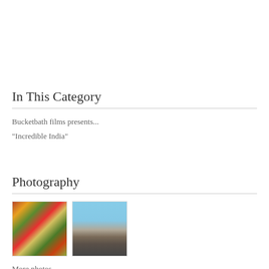In This Category
Bucketbath films presents...
"Incredible India"
Photography
[Figure (photo): Two thumbnail photos side by side: left shows colorful prayer flags and foliage; right shows two people posing on a mountain landscape with blue sky.]
More photos